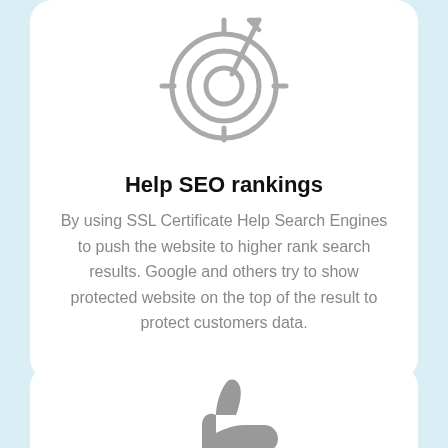[Figure (illustration): Target/crosshair icon with concentric circles and arrow, grey outline style]
Help SEO rankings
By using SSL Certificate Help Search Engines to push the website to higher rank search results. Google and others try to show protected website on the top of the result to protect customers data.
[Figure (illustration): Thumbs up / like icon, grey solid style]